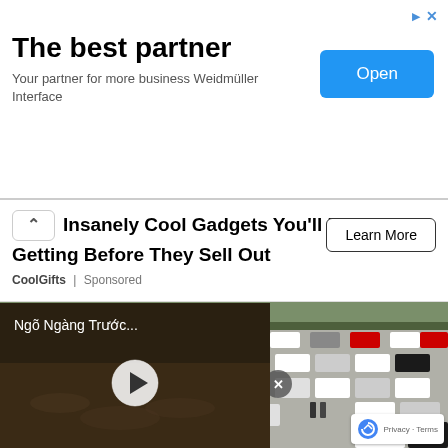The best partner
Your partner for more business Weidmüller Interface
Insanely Cool Gadgets You'll Regret Not Getting Before They Sell Out
CoolGifts | Sponsored
[Figure (photo): Aerial view of a large parking lot filled with cars, with railway tracks visible in the background]
[Figure (screenshot): Video thumbnail overlay showing 'Ngõ Ngàng Trước...' with play button on dark muddy terrain background]